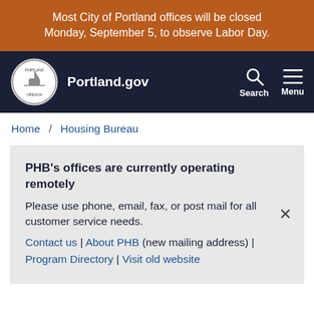Most City of Portland offices will be closed Monday, September 5, to observe Labor Day.
Portland.gov — Search — Menu
Home / Housing Bureau
PHB's offices are currently operating remotely
Please use phone, email, fax, or post mail for all customer service needs.
Contact us | About PHB (new mailing address) | Program Directory | Visit old website